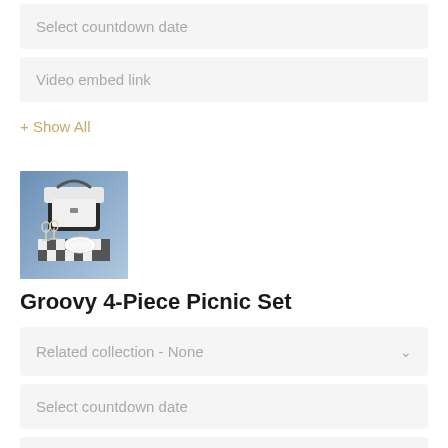Select countdown date
Video embed link
+ Show All
[Figure (photo): Groovy 4-Piece Picnic Set product image showing a picnic basket with glasses and plates on a blue background]
Groovy 4-Piece Picnic Set
Related collection - None
Select countdown date
Video embed link